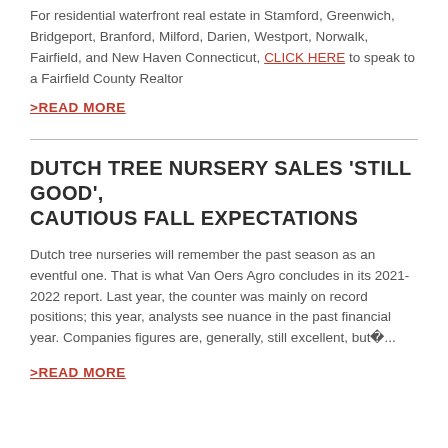For residential waterfront real estate in Stamford, Greenwich, Bridgeport, Branford, Milford, Darien, Westport, Norwalk, Fairfield, and New Haven Connecticut, CLICK HERE to speak to a Fairfield County Realtor
>READ MORE
DUTCH TREE NURSERY SALES 'STILL GOOD', CAUTIOUS FALL EXPECTATIONS
Dutch tree nurseries will remember the past season as an eventful one. That is what Van Oers Agro concludes in its 2021-2022 report. Last year, the counter was mainly on record positions; this year, analysts see nuance in the past financial year. Companies figures are, generally, still excellent, but■...
>READ MORE